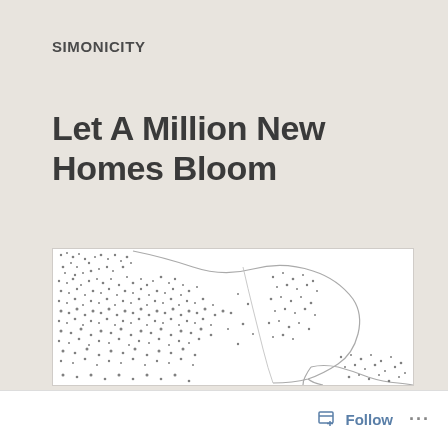SIMONICITY
Let A Million New Homes Bloom
[Figure (map): A dot-density or choropleth map showing geographic distribution of settlements or housing, with irregular boundary lines and clusters of dark dots representing density, white background with gray outlines.]
Follow ...